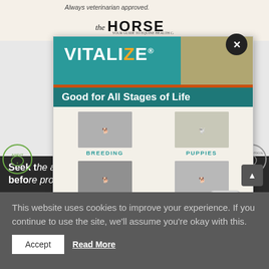Always veterinarian approved.
[Figure (logo): The Horse magazine logo]
[Figure (illustration): Vitalize advertisement popup: teal header with VITALIZE logo, 'Good for All Stages of Life' tagline, photos of Breeding, Puppies, Adult Dogs, Senior Dogs, and a product jar. Close (X) button top-right.]
[Figure (logo): AAEVT logo on left]
[Figure (logo): Protocol logo on right]
Seek the advice of a veterinarian before proceeding with any diagnosis
This website uses cookies to improve your experience. If you continue to use the site, we'll assume you're okay with this.
Accept
Read More